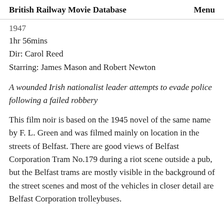British Railway Movie Database   Menu
1947
1hr 56mins
Dir: Carol Reed
Starring: James Mason and Robert Newton
A wounded Irish nationalist leader attempts to evade police following a failed robbery
This film noir is based on the 1945 novel of the same name by F. L. Green and was filmed mainly on location in the streets of Belfast. There are good views of Belfast Corporation Tram No.179 during a riot scene outside a pub, but the Belfast trams are mostly visible in the background of the street scenes and most of the vehicles in closer detail are Belfast Corporation trolleybuses.